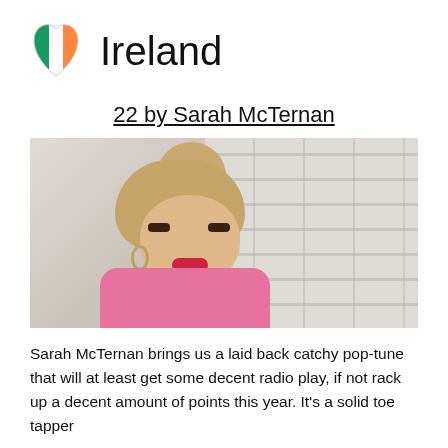Ireland
22 by Sarah McTernan
[Figure (photo): Photo of Sarah McTernan, a young woman with long wavy blonde hair in a high ponytail, wearing a pink top, posing against a white brick wall background]
Sarah McTernan brings us a laid back catchy pop-tune that will at least get some decent radio play, if not rack up a decent amount of points this year. It's a solid toe tapper